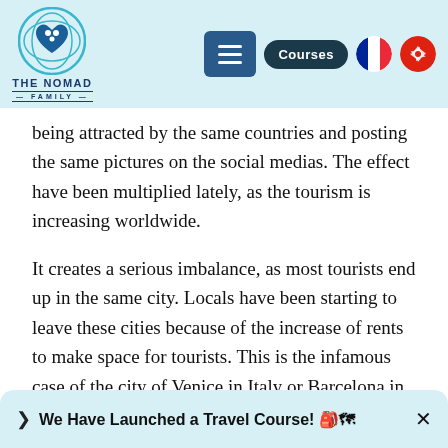THE NOMAD FAMILY — navigation with Courses, French flag, Hong Kong flag
being attracted by the same countries and posting the same pictures on the social medias. The effect have been multiplied lately, as the tourism is increasing worldwide.
It creates a serious imbalance, as most tourists end up in the same city. Locals have been starting to leave these cities because of the increase of rents to make space for tourists. This is the infamous case of the city of Venice in Italy or Barcelona in Spain, where locals started to make anti-tourism marches.
We Have Launched a Travel Course! 🎒🗺